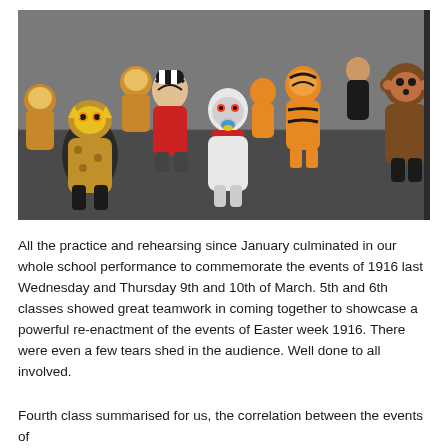[Figure (photo): Children in animal costumes (lion, zebra, tiger, monkey, leopard, bear, dog/wolf) performing or rehearsing in a hall. Several children are crouching in animal poses. Some wear full animal onesies, others wear masks or face paint.]
All the practice and rehearsing since January culminated in our whole school performance to commemorate the events of 1916 last Wednesday and Thursday 9th and 10th of March.  5th and 6th classes showed great teamwork in coming together to showcase a powerful re-enactment of the events of Easter week 1916.  There were even a few tears shed in the audience. Well done to all involved.
Fourth class summarised for us, the correlation between the events of